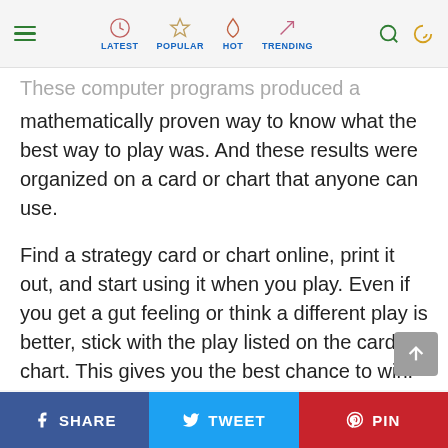LATEST | POPULAR | HOT | TRENDING
These computer programs produced a mathematically proven way to know what the best way to play was. And these results were organized on a card or chart that anyone can use.
Find a strategy card or chart online, print it out, and start using it when you play. Even if you get a gut feeling or think a different play is better, stick with the play listed on the card or chart. This gives you the best chance to win.
3 – Get a Free Blackjack Software Program
SHARE  TWEET  PIN